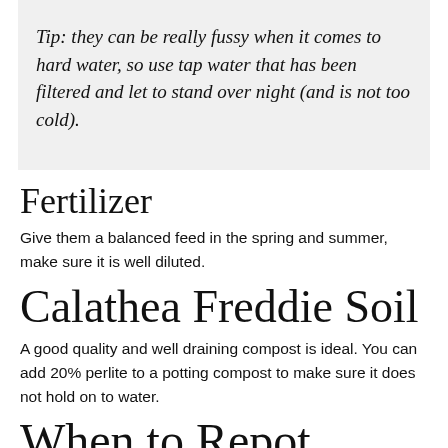Tip: they can be really fussy when it comes to hard water, so use tap water that has been filtered and let to stand over night (and is not too cold).
Fertilizer
Give them a balanced feed in the spring and summer, make sure it is well diluted.
Calathea Freddie Soil
A good quality and well draining compost is ideal. You can add 20% perlite to a potting compost to make sure it does not hold on to water.
When to Repot